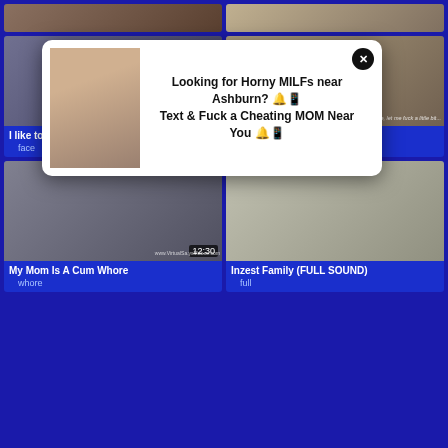[Figure (screenshot): Video thumbnail grid showing adult content website with popup ad overlay. Top row shows two partial video thumbnails. Middle row: left card shows video thumbnail (12:14) titled 'I like to ride my step daddy's face' tagged 'face'; right card shows video thumbnail titled 'Frei benutzbare Familie'. Bottom row: left card shows video thumbnail (12:30) titled 'My Mom Is A Cum Whore' tagged 'whore'; right card shows video thumbnail titled 'Inzest Family (FULL SOUND)' tagged 'full'. Popup ad overlay reads 'Looking for Horny MILFs near Ashburn? Text & Fuck a Cheating MOM Near You' with a photo of a woman and a close button.]